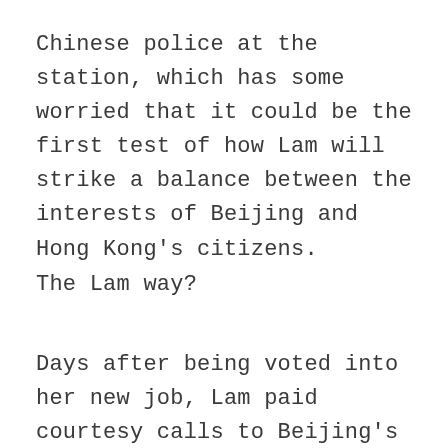Chinese police at the station, which has some worried that it could be the first test of how Lam will strike a balance between the interests of Beijing and Hong Kong's citizens.
The Lam way?
Days after being voted into her new job, Lam paid courtesy calls to Beijing's liaison office and the People's Liberation Army garrison in Hong Kong and announced that Beijing's representative branches